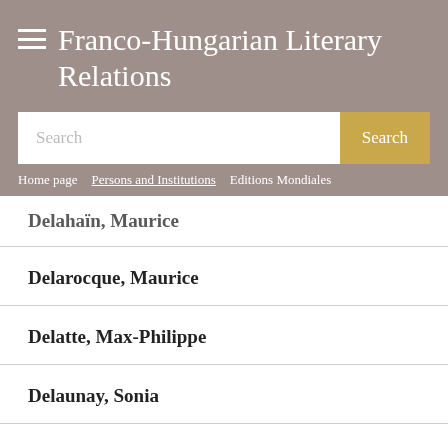Franco-Hungarian Literary Relations
[Figure (screenshot): Search bar with text input field and gold Search button]
Home page | Persons and Institutions | Editions Mondiales
Delahaïn, Maurice
Delarocque, Maurice
Delatte, Max-Philippe
Delaunay, Sonia
Delay, Jean